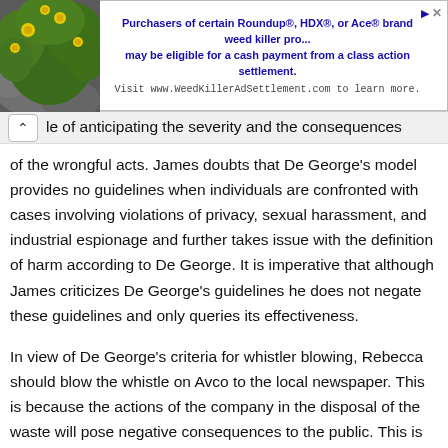[Figure (other): Advertisement banner with plant/flower image on the left and text about Roundup, HDX, or Ace brand weed killer class action settlement]
le of anticipating the severity and the consequences of the wrongful acts. James doubts that De George's model provides no guidelines when individuals are confronted with cases involving violations of privacy, sexual harassment, and industrial espionage and further takes issue with the definition of harm according to De George. It is imperative that although James criticizes De George's guidelines he does not negate these guidelines and only queries its effectiveness.
In view of De George's criteria for whistler blowing, Rebecca should blow the whistle on Avco to the local newspaper. This is because the actions of the company in the disposal of the waste will pose negative consequences to the public. This is further supported by the fact that Rebecca has...